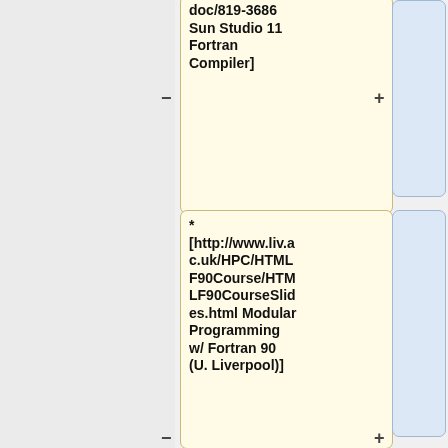doc/819-3686 Sun Studio 11 Fortran Compiler]
* [http://www.liv.ac.uk/HPC/HTMLF90Course/HTMLF90CourseSlides.html Modular Programming w/ Fortran 90 (U. Liverpool)]
* [http://www.liv.ac.uk/HPC/F90page.html Other University of Liverpool F90 tutorials and courses]